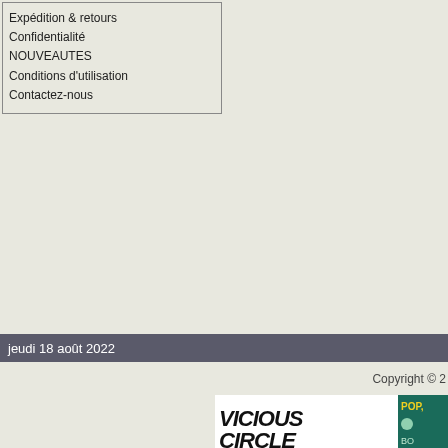Expédition & retours
Confidentialité
NOUVEAUTES
Conditions d'utilisation
Contactez-nous
jeudi 18 août 2022
Copyright © 2
[Figure (logo): Vicious Circle logo with teal panel showing POP label and arrow shape]